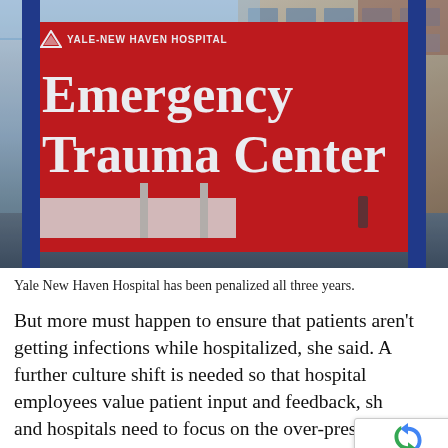[Figure (photo): Photo of Yale-New Haven Hospital Emergency Trauma Center sign, a large red sign with white text reading 'Emergency Trauma Center' mounted on blue metal posts, with the hospital building visible in the background on a rainy day.]
Yale New Haven Hospital has been penalized all three years.
But more must happen to ensure that patients aren't getting infections while hospitalized, she said. A further culture shift is needed so that hospital employees value patient input and feedback, sh and hospitals need to focus on the over-prescrip antibiotics, since a growing number of bacteria are